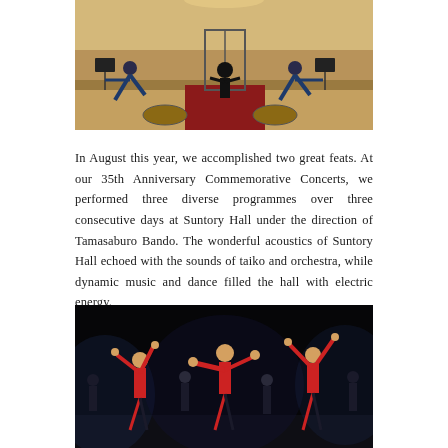[Figure (photo): Orchestra and taiko performers on stage at Suntory Hall, musicians playing instruments and dancers in dynamic poses]
In August this year, we accomplished two great feats. At our 35th Anniversary Commemorative Concerts, we performed three diverse programmes over three consecutive days at Suntory Hall under the direction of Tamasaburo Bando. The wonderful acoustics of Suntory Hall echoed with the sounds of taiko and orchestra, while dynamic music and dance filled the hall with electric energy.
[Figure (photo): Dancers in red and black costumes performing on a darkly lit stage, arms raised dramatically]